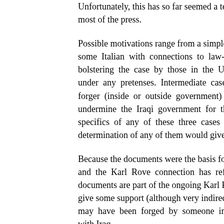Unfortunately, this has so far seemed a tec most of the press.
Possible motivations range from a simple de some Italian with connections to law-enf bolstering the case by those in the US wh under any pretenses. Intermediate cases wo forger (inside or outside government) in y undermine the Iraqi government for the specifics of any of these three cases determination of any of them would give ins
Because the documents were the basis for J and the Karl Rove connection has refocus documents are part of the ongoing Karl Rov give some support (although very indirect) t may have been forged by someone in the with Iraq.
Juan Cole links to the small amount of info is out there.